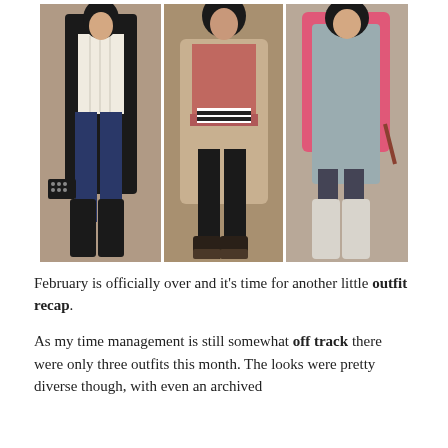[Figure (photo): Three side-by-side outfit photos. Left: woman in black cardigan, white cable-knit sweater, dark jeans, black knee-high boots, holding a black studded clutch. Middle: woman in mauve/pink top with lace hem, beige long cardigan, black leggings, wedge espadrilles, with black and white striped belt. Right: woman in gray knit dress with pink/coral open jacket, dark tights, white knee-high boots.]
February is officially over and it’s time for another little outfit recap.
As my time management is still somewhat off track there were only three outfits this month. The looks were pretty diverse though, with even an archived